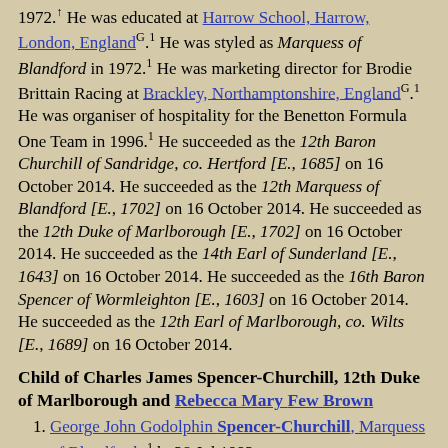1972.↑ He was educated at Harrow School, Harrow, London, England^G.1 He was styled as Marquess of Blandford in 1972.1 He was marketing director for Brodie Brittain Racing at Brackley, Northamptonshire, England^G.1 He was organiser of hospitality for the Benetton Formula One Team in 1996.1 He succeeded as the 12th Baron Churchill of Sandridge, co. Hertford [E., 1685] on 16 October 2014. He succeeded as the 12th Marquess of Blandford [E., 1702] on 16 October 2014. He succeeded as the 12th Duke of Marlborough [E., 1702] on 16 October 2014. He succeeded as the 14th Earl of Sunderland [E., 1643] on 16 October 2014. He succeeded as the 16th Baron Spencer of Wormleighton [E., 1603] on 16 October 2014. He succeeded as the 12th Earl of Marlborough, co. Wilts [E., 1689] on 16 October 2014.
Child of Charles James Spencer-Churchill, 12th Duke of Marlborough and Rebecca Mary Few Brown
George John Godolphin Spencer-Churchill, Marquess of Blandford+1 b. 28 Jul 1992
Children of Charles James Spencer-Churchill, 12th Duke of Marlborough and Edla Griffiths
Lady Araminta Clementine Megan Spencer-Churchill4 b. c 8 Apr 2007